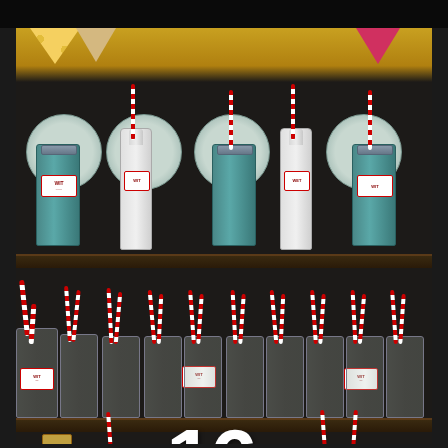[Figure (photo): A dark wooden shelving unit decorated with mason jars and milk bottles containing red and white striped straws, teal mason jars on top shelf with light blue plates, multiple rows of clear glass mason jars and small milk bottles with 'WIT' labels on middle and bottom shelves, a large white number '16' decoration in center, a lantern on the lower left, a framed sign on lower right, and colorful bunting flags at the top.]